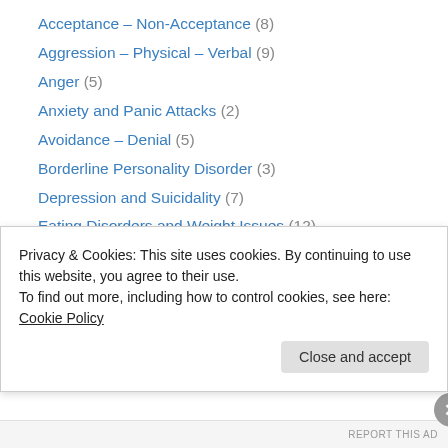Acceptance – Non-Acceptance (8)
Aggression – Physical – Verbal (9)
Anger (5)
Anxiety and Panic Attacks (2)
Avoidance – Denial (5)
Borderline Personality Disorder (3)
Depression and Suicidality (7)
Eating Disorders and Weight Issues (12)
Emotional Abuse (2)
Emotional Mind, Rational Mind, and Wise Mind (19)
Grief and Loss (3)
Mindfulness (7)
Normal People (4)
Privacy & Cookies: This site uses cookies. By continuing to use this website, you agree to their use. To find out more, including how to control cookies, see here: Cookie Policy
REPORT THIS AD